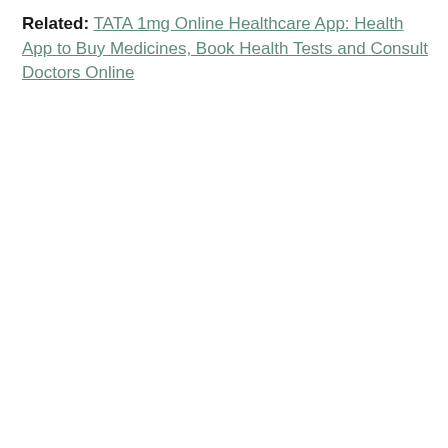Related: TATA 1mg Online Healthcare App: Health App to Buy Medicines, Book Health Tests and Consult Doctors Online